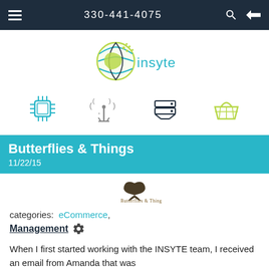330-441-4075
[Figure (logo): Insyte globe logo with teal and green colors and the word 'insyte']
[Figure (infographic): Row of four service icons: microchip (cyan), wireless antenna (gray), server stack (dark), shopping basket (green)]
Butterflies & Things
11/22/15
[Figure (logo): Butterflies & Things company logo with butterfly imagery]
categories:  eCommerce,
Management ⚙
When I first started working with the INSYTE team, I received an email from Amanda that was